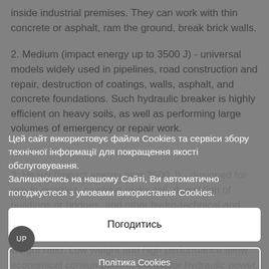inside industrial premises. They can work with thin concrete or asphalt, ram the ground, break brick walls.
2. Medium (impact energy up to 3500 J) - universal models widely used in pipelines, road construction and repair, destruction of coatings, walls, asphalt, and concrete foundations. Such hydraulic breaker is highly efficient on heavy soils, as well as performing large volumes of emergency or repair work.
3. Heavy (impact energy over 3500 J) - designed for use in quarries, crushing rocky soil, demolition of buildings or bridges, and other hydro-technical and industrial buildings.
Цей сайт використовує файли Cookies та сервіси збору технічної інформації для покращення якості обслуговування. Залишаючись на нашому Сайті, Ви автоматично погоджуєтеся з умовами використання Cookies.
Погодитись
Політика Cookies
If you are looking for an independent mid-range breaker, choose the Atlas MB Series models with an improved power-to-weight ratio. Low weight and high performance allow economical consumption of excavator hydraulic power. Used Atlas Copco MB 750 hydraulic breaker is easy to operate: in AutoStart mode, it breaks up unstable